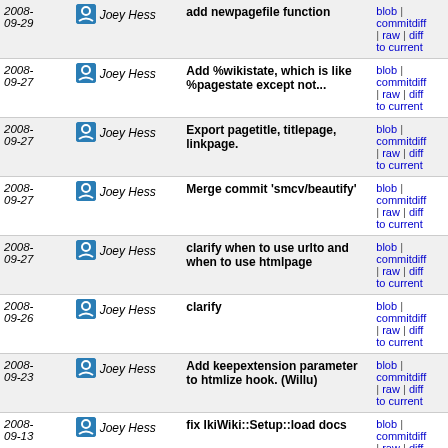| Date | Author | Message | Links |
| --- | --- | --- | --- |
| 2008-09-29 | Joey Hess | add newpagefile function | blob | commitdiff | raw | diff to current |
| 2008-09-27 | Joey Hess | Add %wikistate, which is like %pagestate except not... | blob | commitdiff | raw | diff to current |
| 2008-09-27 | Joey Hess | Export pagetitle, titlepage, linkpage. | blob | commitdiff | raw | diff to current |
| 2008-09-27 | Joey Hess | Merge commit 'smcv/beautify' | blob | commitdiff | raw | diff to current |
| 2008-09-27 | Joey Hess | clarify when to use urlto and when to use htmlpage | blob | commitdiff | raw | diff to current |
| 2008-09-26 | Joey Hess | clarify | blob | commitdiff | raw | diff to current |
| 2008-09-23 | Joey Hess | Add keepextension parameter to htmlize hook. (Willu) | blob | commitdiff | raw | diff to current |
| 2008-09-13 | Joey Hess | fix IkiWiki::Setup::load docs | blob | commitdiff | raw | diff to current |
| 2008-08-26 | Joey Hess | fix %pagestate{ | blob | commitdiff | raw | diff to current |
| 2008-08-25 | Joey Hess | Merge branch 'master' of ssh://git.ikiwiki.info/srv... | blob | commitdiff | raw | diff to current |
| 2008- | Joey Hess | rename preprocessordirective | blob | commitdiff |